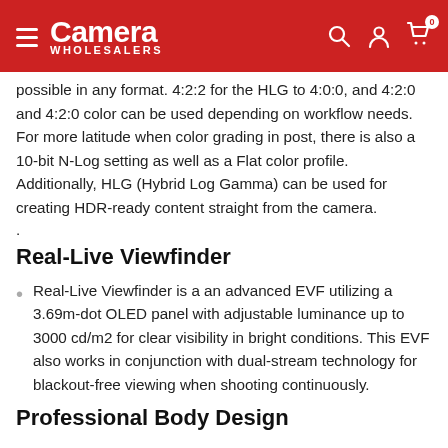Camera Wholesalers
possible in any format. 4:2:2 for the HLG to 4:0:0, and 4:2:0 and 4:2:0 color can be used depending on workflow needs. For more latitude when color grading in post, there is also a 10-bit N-Log setting as well as a Flat color profile. Additionally, HLG (Hybrid Log Gamma) can be used for creating HDR-ready content straight from the camera.
.
Real-Live Viewfinder
Real-Live Viewfinder is a an advanced EVF utilizing a 3.69m-dot OLED panel with adjustable luminance up to 3000 cd/m2 for clear visibility in bright conditions. This EVF also works in conjunction with dual-stream technology for blackout-free viewing when shooting continuously.
Professional Body Design